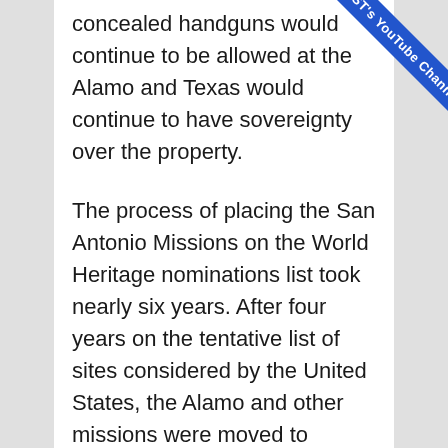concealed handguns would continue to be allowed at the Alamo and Texas would continue to have sovereignty over the property.
The process of placing the San Antonio Missions on the World Heritage nominations list took nearly six years. After four years on the tentative list of sites considered by the United States, the Alamo and other missions were moved to nominated status in 2012 by then-Secretary of the Interior Ken Salazar.
[Figure (other): Blue diagonal ribbon banner in top-right corner with text 'KSST's YouTube Channel']